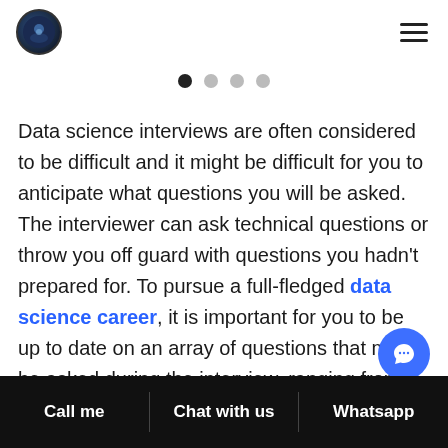[logo] [hamburger menu]
[Figure (other): Pagination dots: 4 dots, first one filled black, rest grey]
Data science interviews are often considered to be difficult and it might be difficult for you to anticipate what questions you will be asked. The interviewer can ask technical questions or throw you off guard with questions you hadn't prepared for. To pursue a full-fledged data science career, it is important for you to be up to date on an array of questions that might be asked during the interview, ranging from programming skills to statistical knowledge, or
Call me   Chat with us   Whatsapp